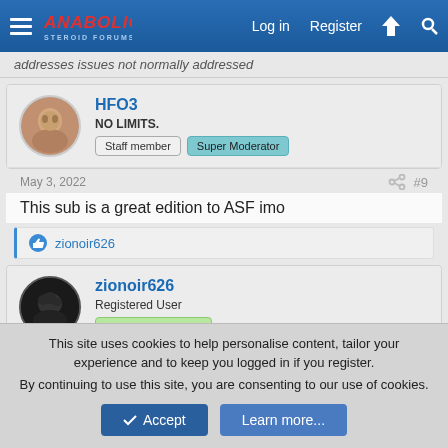Anabolic Steroid Forums — Log in | Register
addresses issues not normally addressed
HFO3
NO LIMITS.  Staff member  Super Moderator
May 3, 2022  #9
This sub is a great edition to ASF imo
zionoir626
zionoir626
Registered User  Registered Member
This site uses cookies to help personalise content, tailor your experience and to keep you logged in if you register.
By continuing to use this site, you are consenting to our use of cookies.